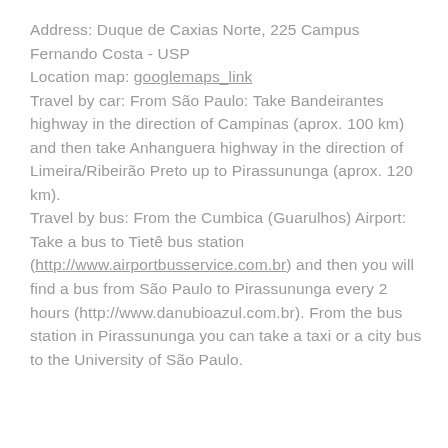Address: Duque de Caxias Norte, 225 Campus Fernando Costa - USP
Location map: googlemaps_link
Travel by car: From São Paulo: Take Bandeirantes highway in the direction of Campinas (aprox. 100 km) and then take Anhanguera highway in the direction of Limeira/Ribeirão Preto up to Pirassununga (aprox. 120 km).
Travel by bus: From the Cumbica (Guarulhos) Airport: Take a bus to Tietê bus station (http://www.airportbusservice.com.br) and then you will find a bus from São Paulo to Pirassununga every 2 hours (http://www.danubioazul.com.br). From the bus station in Pirassununga you can take a taxi or a city bus to the University of São Paulo.